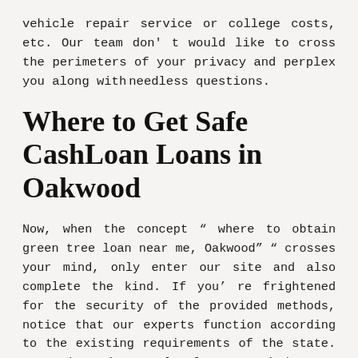vehicle repair service or college costs, etc. Our team don't would like to cross the perimeters of your privacy and perplex you along withneedless questions.
Where to Get Safe CashLoan Loans in Oakwood
Now, when the concept " where to obtain green tree loan near me, Oakwood" " crosses your mind, only enter our site and also complete the kind. If you're frightened for the security of the provided methods, notice that our experts function according to the existing requirements of the state. Your data is completely secured by our business and you could be certain it gained't be actually had by people. All the costs and also percentage fees are created uniquely to fulfill the consumer's financial needs. We built business that assists people in difficult instances and it's an honor